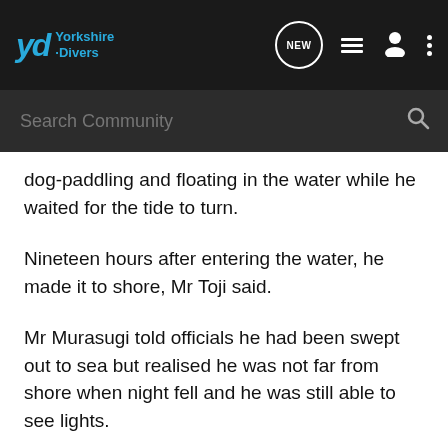Yorkshire Divers
dog-paddling and floating in the water while he waited for the tide to turn.
Nineteen hours after entering the water, he made it to shore, Mr Toji said.
Mr Murasugi told officials he had been swept out to sea but realised he was not far from shore when night fell and he was still able to see lights.
Mr Murasugi said: "Having snorkelled for my first time, I've experienced enough marine leisure for a lifetime."